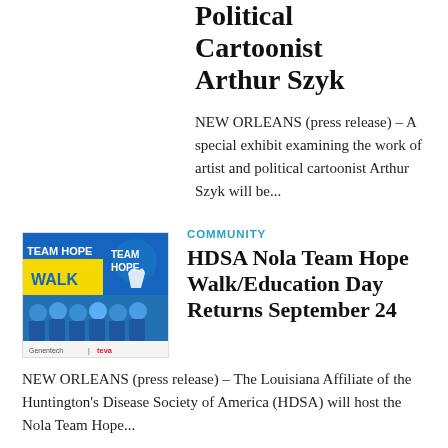Political Cartoonist Arthur Szyk
NEW ORLEANS (press release) – A special exhibit examining the work of artist and political cartoonist Arthur Szyk will be...
[Figure (illustration): Team Hope Walk promotional image with group photo and logos for Genentech and Teva]
COMMUNITY
HDSA Nola Team Hope Walk/Education Day Returns September 24
NEW ORLEANS (press release) – The Louisiana Affiliate of the Huntington's Disease Society of America (HDSA) will host the Nola Team Hope...